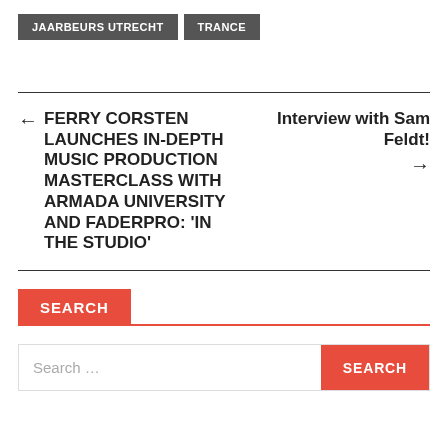JAARBEURS UTRECHT
TRANCE
← FERRY CORSTEN LAUNCHES IN-DEPTH MUSIC PRODUCTION MASTERCLASS WITH ARMADA UNIVERSITY AND FADERPRO: 'IN THE STUDIO'
Interview with Sam Feldt! →
SEARCH
Search …